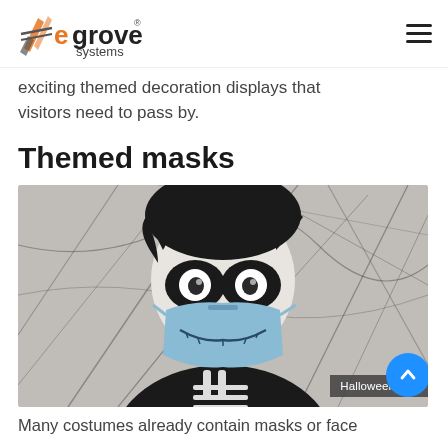egrove systems
exciting themed decoration displays that visitors need to pass by.
Themed masks
[Figure (photo): Child wearing a skeleton-themed face mask with skull face paint, in front of a spiderweb-like background. Caption partially visible: 'Halloween m...']
Many costumes already contain masks or face